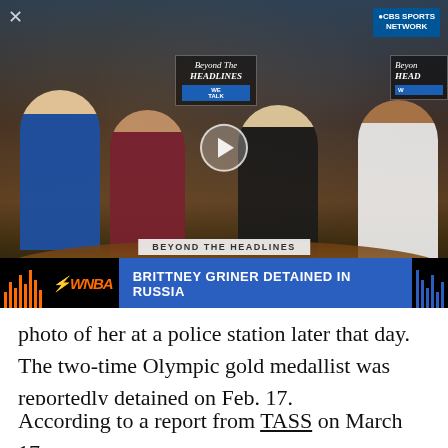[Figure (screenshot): TV screenshot of CBS Sports Network show 'Beyond the Headlines' featuring four women seated around a studio desk. A WNBA lower-third ticker reads 'BRITTNEY GRINER DETAINED IN RUSSIA'. A play button overlay is visible in the center.]
photo of her at a police station later that day. The two-time Olympic gold medallist was reportedly detained on Feb. 17.
According to a report from TASS on March 17, a